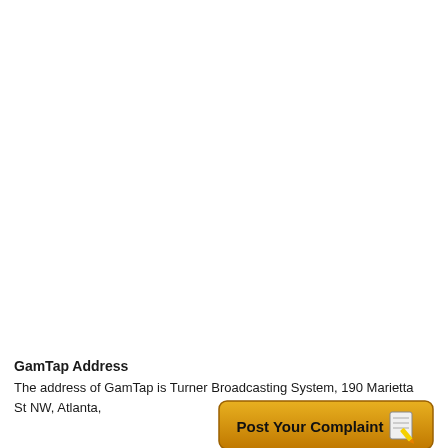GamTap Address
The address of GamTap is Turner Broadcasting System, 190 Marietta St NW, Atlanta,
[Figure (other): A gold/orange gradient button labeled 'Post Your Complaint' with a notepad and pencil icon on the right side.]